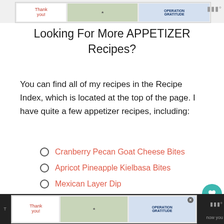[Figure (photo): Top advertisement banner showing 'Thank you' script text with Operation Gratitude imagery and military personnel]
Looking For More APPETIZER Recipes?
You can find all of my recipes in the Recipe Index, which is located at the top of the page. I have quite a few appetizer recipes, including:
Cranberry Pecan Goat Cheese Bites
Apricot Pineapple Kielbasa Bites
Mexican Layer Dip
Homemade Boursin Cheese
Interested In More Recipes?
[Figure (photo): Bottom advertisement banner showing Thank You and Operation Gratitude with military personnel, with dark background sides]